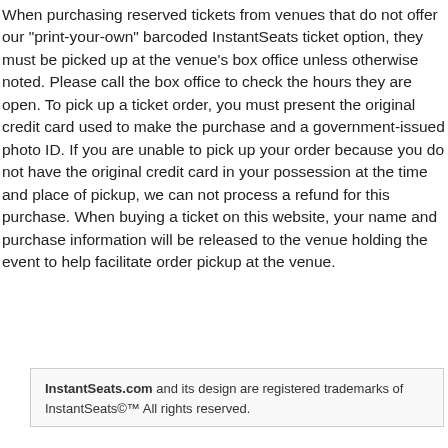When purchasing reserved tickets from venues that do not offer our "print-your-own" barcoded InstantSeats ticket option, they must be picked up at the venue's box office unless otherwise noted. Please call the box office to check the hours they are open. To pick up a ticket order, you must present the original credit card used to make the purchase and a government-issued photo ID. If you are unable to pick up your order because you do not have the original credit card in your possession at the time and place of pickup, we can not process a refund for this purchase. When buying a ticket on this website, your name and purchase information will be released to the venue holding the event to help facilitate order pickup at the venue.
InstantSeats.com and its design are registered trademarks of InstantSeats©™ All rights reserved.